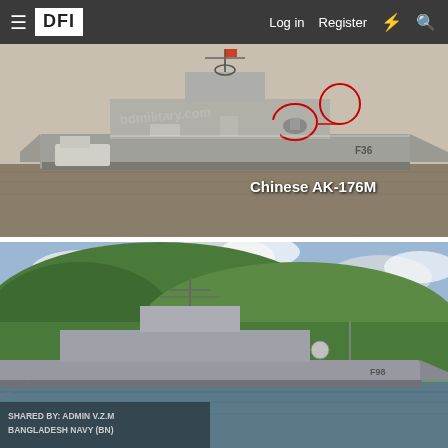DFI  Log in  Register
[Figure (photo): Bangladesh Navy frigate (F36) on water with crew on deck, annotated with red circles and a line pointing to 'Chinese AK-176M' gun mount. Watermark reads 'bdmilitary.com'.]
[Figure (photo): Bangladesh Navy frigate (F98) seen from the side near a green hillside, with watermark text 'Shared by: Admin V.Z.M Bangladesh Navy (BN)'.]